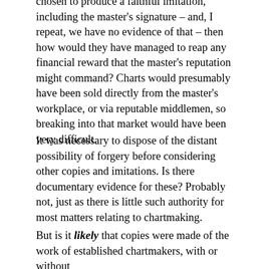chosen to produce a faithful imitation, including the master's signature – and, I repeat, we have no evidence of that – then how would they have managed to reap any financial reward that the master's reputation might command? Charts would presumably have been sold directly from the master's workplace, or via reputable middlemen, so breaking into that market would have been very difficult.
It was necessary to dispose of the distant possibility of forgery before considering other copies and imitations. Is there documentary evidence for these? Probably not, just as there is little such authority for most matters relating to chartmaking.
But is it likely that copies were made of the work of established chartmakers, with or without